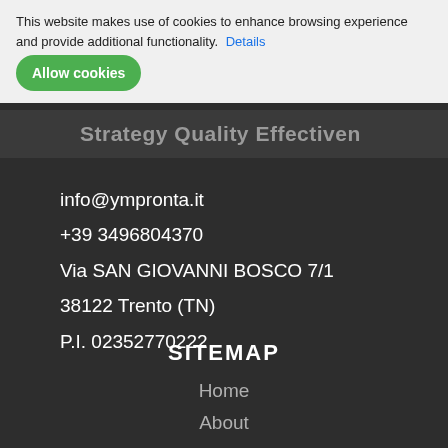This website makes use of cookies to enhance browsing experience and provide additional functionality. Details
Allow cookies
Strategy Quality Effectiven
info@ympronta.it
+39 3496804370
Via SAN GIOVANNI BOSCO 7/1
38122 Trento (TN)
P.I.  02352770222
SITEMAP
Home
About
Products
Services
Blog
Contacts
Eventi